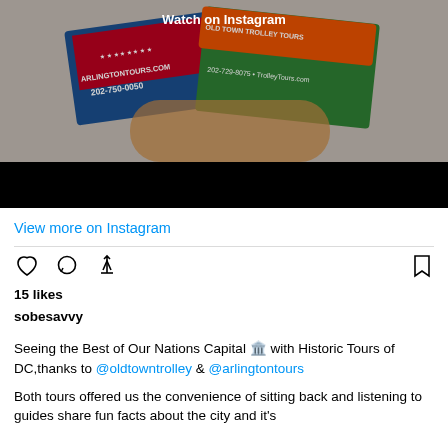[Figure (photo): Instagram post image showing two tour brochures held in a hand — an Arlington Tours brochure (202-750-0050, arlingtontours.com) and an Old Town Trolley Tours brochure (202-729-8075, TrolleyTours.com). A 'Watch on Instagram' label overlays the top. Below the image is a black bar (video control area).]
View more on Instagram
15 likes
sobesavvy
Seeing the Best of Our Nations Capital 🏛️ with Historic Tours of DC,thanks to @oldtowntrolley & @arlingtontours
Both tours offered us the convenience of sitting back and listening to guides share fun facts about the city and it's